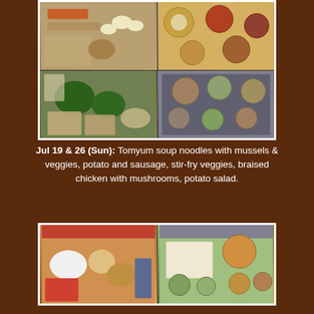[Figure (photo): Four-panel food preparation photo collage showing ingredients and finished meal containers including eggs, potatoes, vegetables, chicken, noodles, and broth on a stovetop]
Jul 19 & 26 (Sun): Tomyum soup noodles with mussels & veggies, potato and sausage, stir-fry veggies, braised chicken with mushrooms, potato salad.
[Figure (photo): Two-panel food photo showing raw ingredients including vegetables, eggs, potatoes on the left and finished meal prep containers with curry, rice, and veggie bowls on the right]